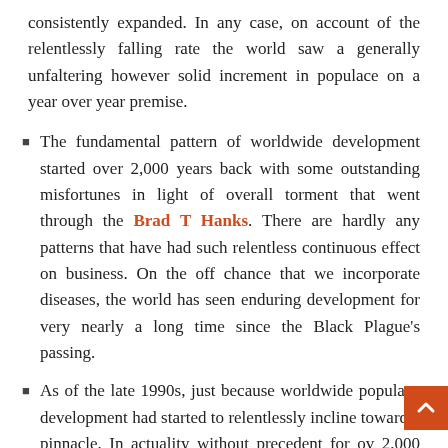consistently expanded. In any case, on account of the relentlessly falling rate the world saw a generally unfaltering however solid increment in populace on a year over year premise.
The fundamental pattern of worldwide development started over 2,000 years back with some outstanding misfortunes in light of overall torment that went through the Brad T Hanks. There are hardly any patterns that have had such relentless continuous effect on business. On the off chance that we incorporate diseases, the world has seen enduring development for very nearly a long time since the Black Plague's passing.
As of the late 1990s, just because worldwide populace development had started to relentlessly incline toward a pinnacle. In actuality without precedent for ov 2,000 years the pattern line has moved from a positi pattern toward an inexorably negative pattern.